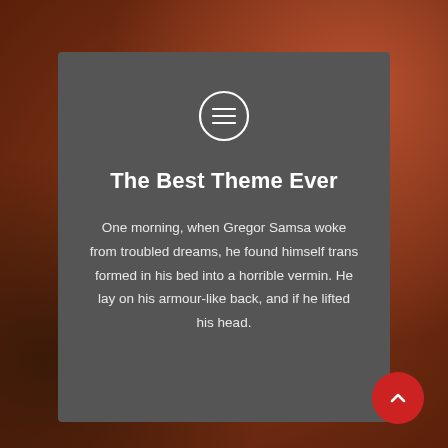[Figure (illustration): Dark reddish-brown textured background with decorative motifs visible on the edges]
[Figure (illustration): Dark grey rounded card overlay containing icon, title, and body text]
The Best Theme Ever
One morning, when Gregor Samsa woke from troubled dreams, he found himself trans formed in his bed into a horrible vermin. He lay on his armour-like back, and if he lifted his head.
[Figure (illustration): Red circular scroll-to-top button with upward chevron arrow in the bottom right corner]